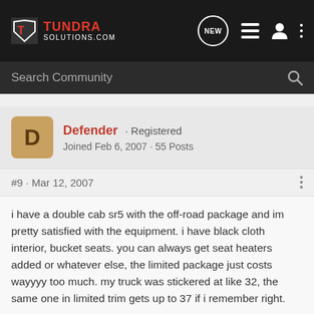TUNDRA SOLUTIONS.COM
Search Community
Defender · Registered
Joined Feb 6, 2007 · 55 Posts
#9 · Mar 12, 2007
i have a double cab sr5 with the off-road package and im pretty satisfied with the equipment. i have black cloth interior, bucket seats. you can always get seat heaters added or whatever else, the limited package just costs wayyyy too much. my truck was stickered at like 32, the same one in limited trim gets up to 37 if i remember right.